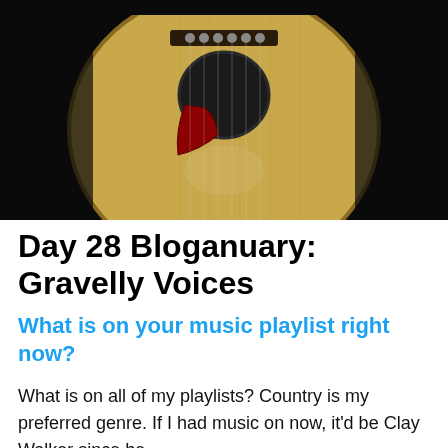[Figure (photo): Close-up photo of an acoustic guitar body against a dark/black background. The guitar has a natural wood finish (light tan/yellow tone), a dark bridge with tuning pegs visible, and a red pickguard near the sound hole.]
Day 28 Bloganuary: Gravelly Voices
What is on your music playlist right now?
What is on all of my playlists? Country is my preferred genre. If I had music on now, it'd be Clay Walker since he